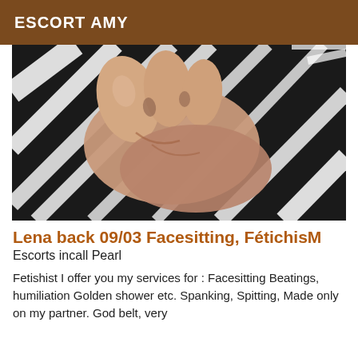ESCORT AMY
[Figure (photo): Close-up photo of feet/toes against a black-and-white zebra print fabric background]
Lena back 09/03 Facesitting, FétichisM
Escorts incall Pearl
Fetishist I offer you my services for : Facesitting Beatings, humiliation Golden shower etc. Spanking, Spitting, Made only on my partner. God belt, very